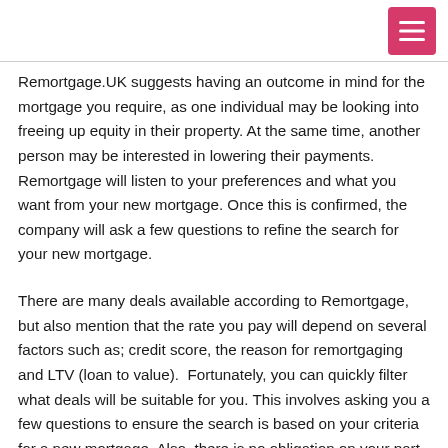[navigation menu button]
Remortgage.UK suggests having an outcome in mind for the mortgage you require, as one individual may be looking into freeing up equity in their property. At the same time, another person may be interested in lowering their payments. Remortgage will listen to your preferences and what you want from your new mortgage. Once this is confirmed, the company will ask a few questions to refine the search for your new mortgage.
There are many deals available according to Remortgage, but also mention that the rate you pay will depend on several factors such as; credit score, the reason for remortgaging and LTV (loan to value). Fortunately, you can quickly filter what deals will be suitable for you. This involves asking you a few questions to ensure the search is based on your criteria for a new mortgage. Also, there is no obligation on your part, and nothing to lose by getting touch, yet a lot to gain.